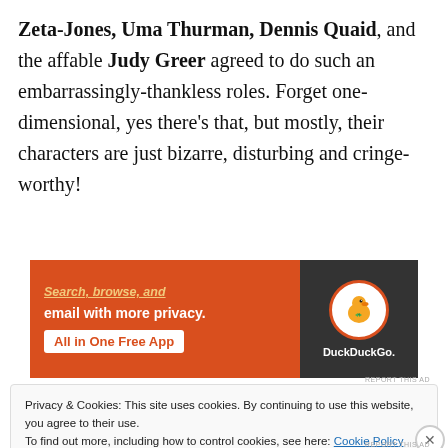Zeta-Jones, Uma Thurman, Dennis Quaid, and the affable Judy Greer agreed to do such an embarrassingly-thankless roles. Forget one-dimensional, yes there's that, but mostly, their characters are just bizarre, disturbing and cringe-worthy!
[Figure (screenshot): DuckDuckGo advertisement banner. Left side has orange background with text 'Search, browse, and email with more privacy.' and a button 'All in One Free App'. Right side has dark background with DuckDuckGo logo (duck in orange circle) and 'DuckDuckGo.' text.]
REPORT THIS AD
Privacy & Cookies: This site uses cookies. By continuing to use this website, you agree to their use.
To find out more, including how to control cookies, see here: Cookie Policy
Close and accept